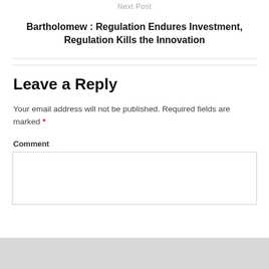Next Post
Bartholomew : Regulation Endures Investment, Regulation Kills the Innovation
Leave a Reply
Your email address will not be published. Required fields are marked *
Comment